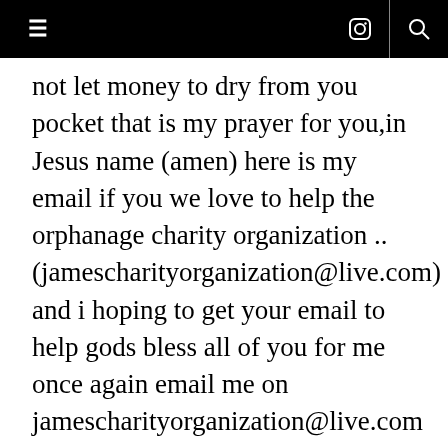≡  [instagram icon]  [search icon]
not let money to dry from you pocket that is my prayer for you,in Jesus name (amen) here is my email if you we love to help the orphanage charity organization .. (jamescharityorganization@live.com) and i hoping to get your email to help gods bless all of you for me once again email me on jamescharityorganization@live.com THANKS...
Reply